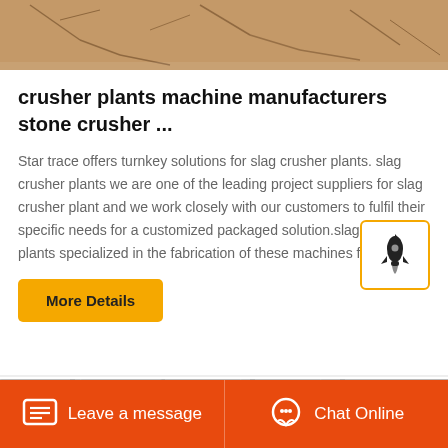[Figure (photo): Close-up photo of cracked/dry soil or stone surface with dark cracks and scratches, brown/tan color]
crusher plants machine manufacturers stone crusher ...
Star trace offers turnkey solutions for slag crusher plants. slag crusher plants we are one of the leading project suppliers for slag crusher plant and we work closely with our customers to fulfil their specific needs for a customized packaged solution.slag crusher plants specialized in the fabrication of these machines for 25.
[Figure (illustration): Rocket icon inside a square box with orange border]
[Figure (photo): Industrial building interior or exterior with metal roof/ceiling structures, grey tones]
Leave a message   Chat Online